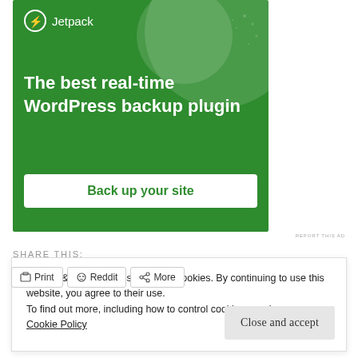[Figure (illustration): Jetpack WordPress plugin advertisement banner with green background, Jetpack logo, headline 'The best real-time WordPress backup plugin', and a 'Back up your site' button]
REPORT THIS AD
SHARE THIS:
Print
Reddit
More
Privacy & Cookies: This site uses cookies. By continuing to use this website, you agree to their use.
To find out more, including how to control cookies, see here:
Cookie Policy
Close and accept